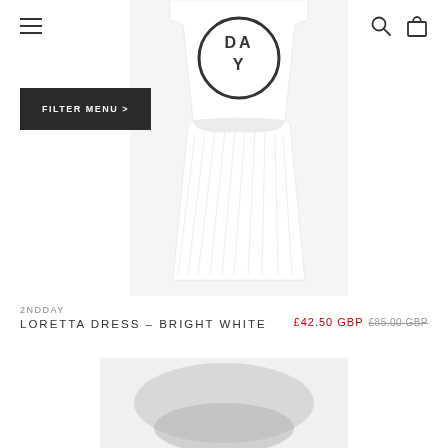[Figure (screenshot): E-commerce website screenshot showing a white dress (Loretta Dress - Bright White by 2NDDAY) with a DAY logo circle on the front, displayed on a product listing page with navigation bar, hamburger menu, search and cart icons, and a Filter Menu button.]
2NDDAY
LORETTA DRESS – BRIGHT WHITE
£42.50 GBP £85.00 GBP
[Figure (photo): Bottom portion of a second product image, partially visible, showing a blurred/grey garment at the bottom of the page.]